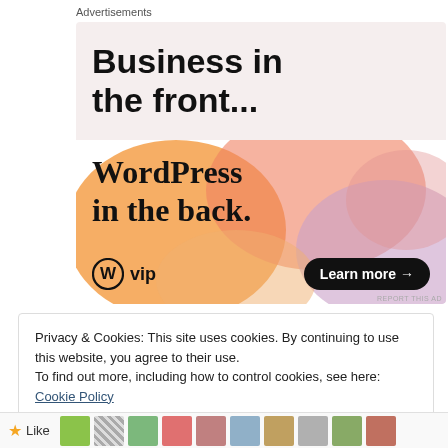Advertisements
[Figure (illustration): WordPress VIP advertisement banner. Top half: light pink/beige background with bold sans-serif text 'Business in the front...' Bottom half: colorful orange, pink, purple blob shapes background with serif text 'WordPress in the back.' WordPress logo (W in circle) with 'vip' text on left, black pill button 'Learn more →' on right. 'REPORT THIS AD' in small text bottom right.]
Privacy & Cookies: This site uses cookies. By continuing to use this website, you agree to their use.
To find out more, including how to control cookies, see here: Cookie Policy
Close and accept
Like